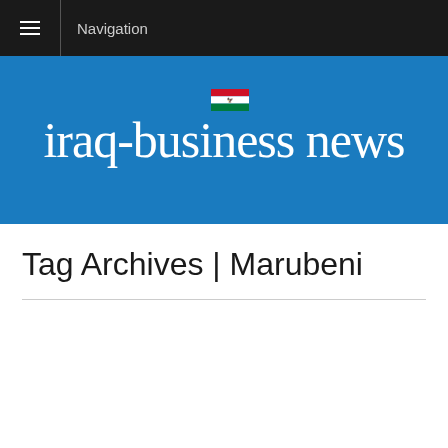Navigation
[Figure (logo): Iraq Business News logo with Iraqi flag on blue background]
Tag Archives | Marubeni